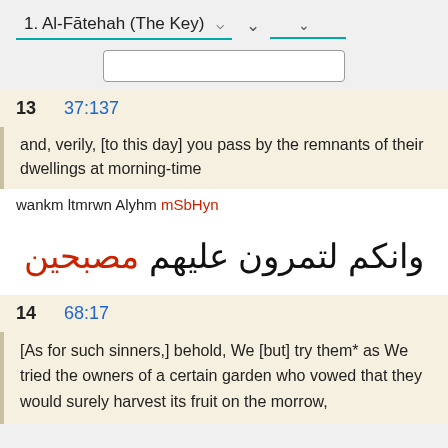1. Al-Fātehah (The Key)
[Figure (screenshot): Search input box]
13   37:137
and, verily, [to this day] you pass by the remnants of their dwellings at morning-time
wankm ltmrwn Alyhm mSbHyn
وانكم لتمرون عليهم مصبحين
14   68:17
[As for such sinners,] behold, We [but] try them* as We tried the owners of a certain garden who vowed that they would surely harvest its fruit on the morrow,